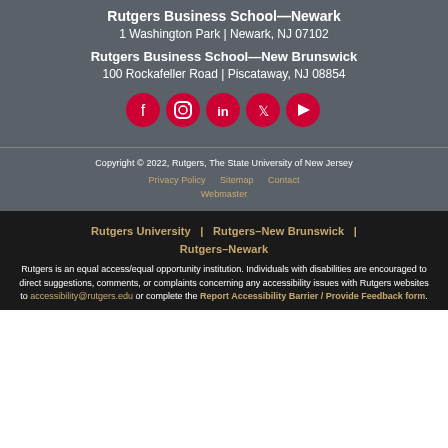Rutgers Business School—Newark
1 Washington Park | Newark, NJ 07102
Rutgers Business School—New Brunswick
100 Rockafeller Road | Piscataway, NJ 08854
[Figure (infographic): Five social media icons: Facebook, Instagram, LinkedIn, Twitter, YouTube — circular red buttons arranged in a row]
Copyright © 2022, Rutgers, The State University of New Jersey
Privacy Policy   Sitemap   Contact   Webmaster
Rutgers University  |  Rutgers–New Brunswick  |  Rutgers–Newark
Rutgers is an equal access/equal opportunity institution. Individuals with disabilities are encouraged to direct suggestions, comments, or complaints concerning any accessibility issues with Rutgers websites to accessibility@rutgers.edu or complete the Report Accessibility Barrier / Provide Feedback form.